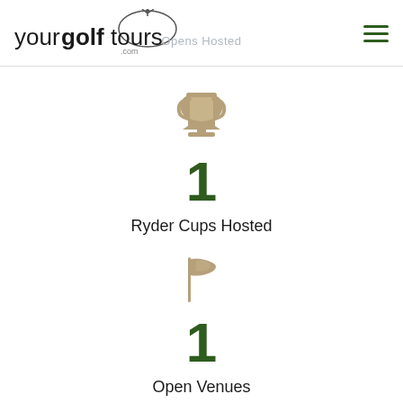yourgolftours.com
Opens Hosted
[Figure (illustration): Trophy icon in tan/gold color]
1
Ryder Cups Hosted
[Figure (illustration): Golf flag icon in tan/gold color]
1
Open Venues